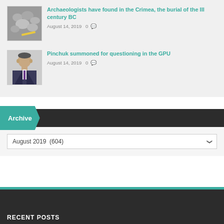[Figure (photo): Archaeological excavation site thumbnail - rocks and tools]
Archaeologists have found in the Crimea, the burial of the III century BC
August 14, 2019  0
[Figure (photo): Businessman portrait thumbnail - man in suit]
Pinchuk summoned for questioning in the GPU
August 14, 2019  0
Archive
August 2019  (604)
RECENT POSTS